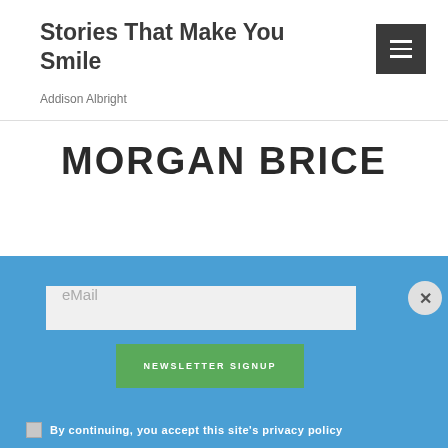Stories That Make You Smile
Addison Albright
MORGAN BRICE
eMail
NEWSLETTER SIGNUP
By continuing, you accept this site's privacy policy